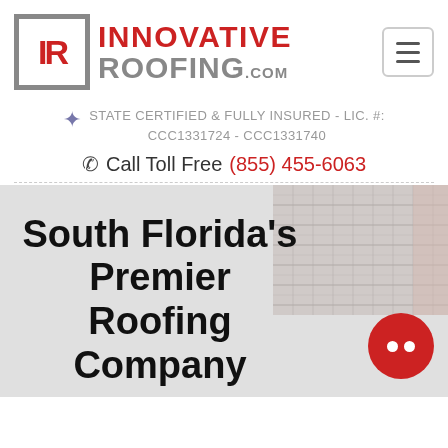[Figure (logo): Innovative Roofing logo with IR monogram in grey box and red INNOVATIVE / grey ROOFING.com text]
STATE CERTIFIED & FULLY INSURED - LIC. #: CCC1331724 - CCC1331740
Call Toll Free (855) 455-6063
[Figure (photo): Photo of roof tiles/shingles in upper right corner of hero section]
South Florida's Premier Roofing Company